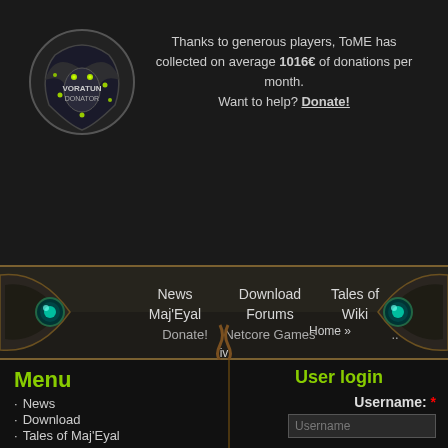[Figure (logo): Voratun Donator badge logo - stylized dragon/creature emblem with yellow-green glowing eyes, dark metallic appearance, text VORATUN DONATOR on shield]
Thanks to generous players, ToME has collected on average 1016€ of donations per month. Want to help? Donate!
[Figure (other): Navigation bar with ornate dark brown/gold border, two glowing teal gem ornaments on left and right ends, containing navigation links: News, Download, Tales of Maj'Eyal, Forums, Wiki, Donate!, Netcore Games, and breadcrumb Home >>]
Menu
News
Download
Tales of Maj'Eyal
User login
Username: *
Username